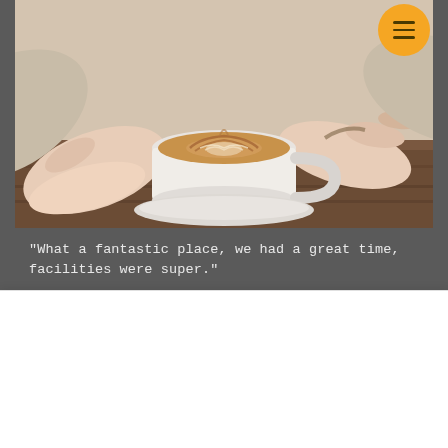[Figure (photo): Hands holding a white ceramic cup of latte art coffee on a dark wooden board, photographed from above. An orange circular hamburger menu button is visible in the top-right corner.]
"What a fantastic place, we had a great time, facilities were super."
We use cookies on our website to see how you interact with it. By accepting, you agree to our use of such cookies. Cookie Policy
Settings
Accept